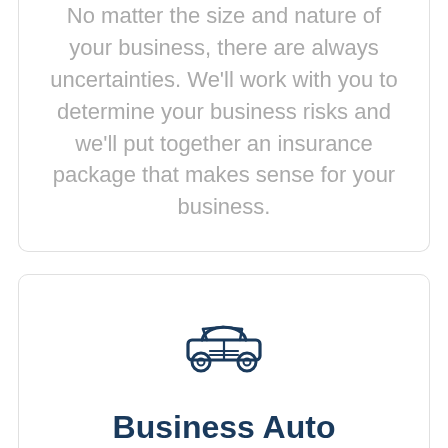No matter the size and nature of your business, there are always uncertainties. We'll work with you to determine your business risks and we'll put together an insurance package that makes sense for your business.
[Figure (illustration): Car icon outline in dark navy blue representing business auto insurance]
Business Auto Insurance
Whether you have one vehicle or